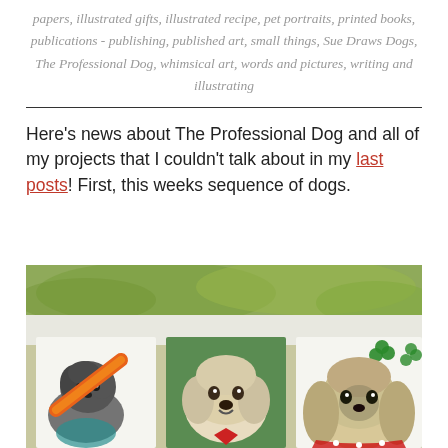papers, illustrated gifts, illustrated recipe, pet portraits, printed books, publications - publishing, published art, small things, Sue Draws Dogs, The Professional Dog, whimsical art, words and pictures, writing and illustrating
Here's news about The Professional Dog and all of my projects that I couldn't talk about in my last posts! First, this weeks sequence of dogs.
[Figure (photo): Three illustrated dog portrait paintings displayed side by side against a green background. Left: a shaggy grey/black dog with a surfboard. Middle: a fluffy white/beige dog on a green background. Right: a Shih Tzu dog with shamrock decorations.]